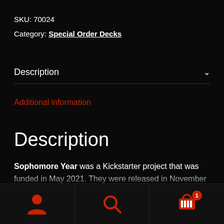SKU: 70024
Category: Special Order Decks
Description
Additional information
Description
Sophomore Year was a Kickstarter project that was funded in May 2021. They were released in November 2021. The...
navigation icons: user, search, cart (1)